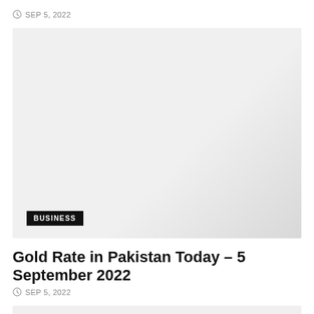SEP 5, 2022
[Figure (photo): Large light gray image placeholder with business article thumbnail, showing a gradient from light gray to slightly darker gray. Contains a 'BUSINESS' category badge in the lower left corner.]
Gold Rate in Pakistan Today – 5 September 2022
SEP 5, 2022